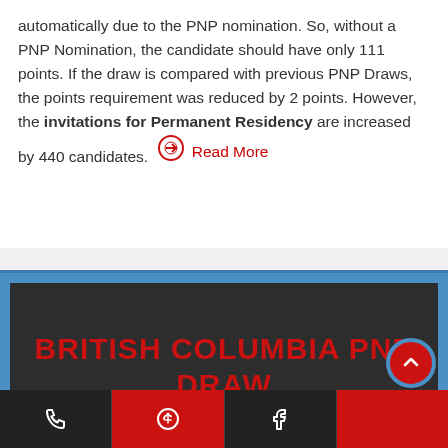automatically due to the PNP nomination. So, without a PNP Nomination, the candidate should have only 111 points. If the draw is compared with previous PNP Draws, the points requirement was reduced by 2 points. However, the invitations for Permanent Residency are increased by 440 candidates. Read More
[Figure (other): Dark banner with bold red text reading BRITISH COLUMBIA PNP DRAW on a blue-bordered background]